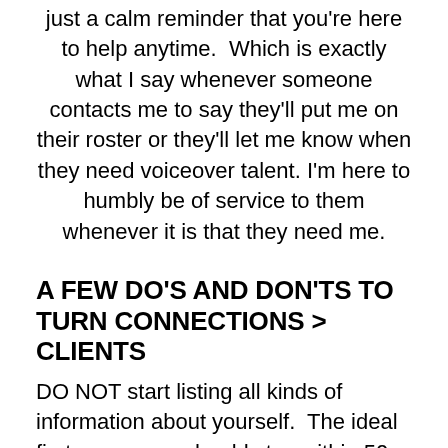just a calm reminder that you're here to help anytime.  Which is exactly what I say whenever someone contacts me to say they'll put me on their roster or they'll let me know when they need voiceover talent. I'm here to humbly be of service to them whenever it is that they need me.
A FEW DO'S AND DON'TS TO TURN CONNECTIONS > CLIENTS
DO NOT start listing all kinds of information about yourself.  The ideal first messages should stay within 50-125 words, so if you start talking about your stellar recording studio or tell them all about your past clients,